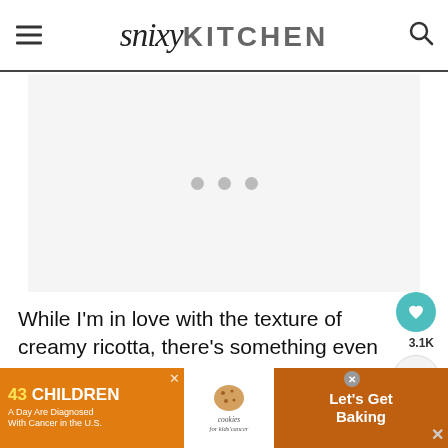snixy KITCHEN
[Figure (other): Ad placeholder area with three gray dots indicating loading content]
While I'm in love with the texture of creamy ricotta, there's something even more magical that happens when you p... paste of...
[Figure (other): Advertisement banner: 43 CHILDREN A Day Are Diagnosed With Cancer in the U.S. - cookies for kids cancer - Let's Get Baking]